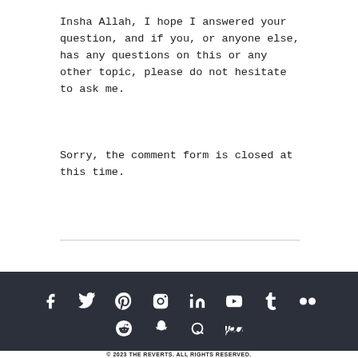Insha Allah, I hope I answered your question, and if you, or anyone else, has any questions on this or any other topic, please do not hesitate to ask me.
Sorry, the comment form is closed at this time.
[Figure (other): Social media icons row 1: Facebook, Twitter, Pinterest, Instagram, LinkedIn, YouTube, Tumblr, Flickr; row 2: Reddit, Snapchat, Quora, Vine — white icons on dark background]
© 2023 THE REVERTS. ALL RIGHTS RESERVED.